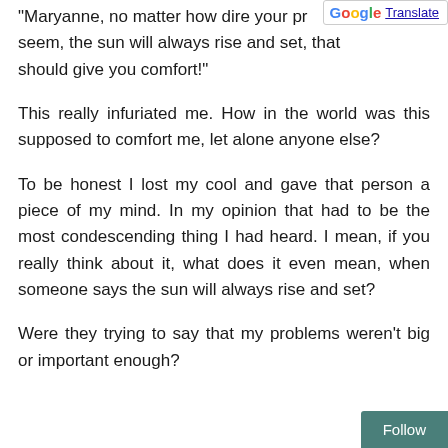"Maryanne, no matter how dire your problems seem, the sun will always rise and set, that should give you comfort!"
This really infuriated me. How in the world was this supposed to comfort me, let alone anyone else?
To be honest I lost my cool and gave that person a piece of my mind. In my opinion that had to be the most condescending thing I had heard. I mean, if you really think about it, what does it even mean, when someone says the sun will always rise and set?
Were they trying to say that my problems weren't big or important enough?